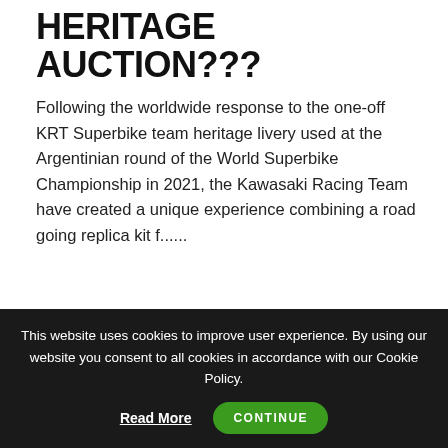HERITAGE AUCTION???
Following the worldwide response to the one-off KRT Superbike team heritage livery used at the Argentinian round of the World Superbike Championship in 2021, the Kawasaki Racing Team have created a unique experience combining a road going replica kit f......
READ MORE ›
[Figure (photo): Partial image strip visible at bottom of article section]
This website uses cookies to improve user experience. By using our website you consent to all cookies in accordance with our Cookie Policy.
Read More   CONTINUE